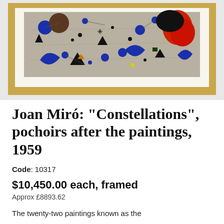[Figure (photo): A framed Joan Miró artwork from the Constellations series, showing abstract colorful shapes including blue, red, black, and orange biomorphic forms against a grey background, in a gold frame.]
Joan Miró: "Constellations", pochoirs after the paintings, 1959
Code: 10317
$10,450.00 each, framed
Approx £8893.62
The twenty-two paintings known as the